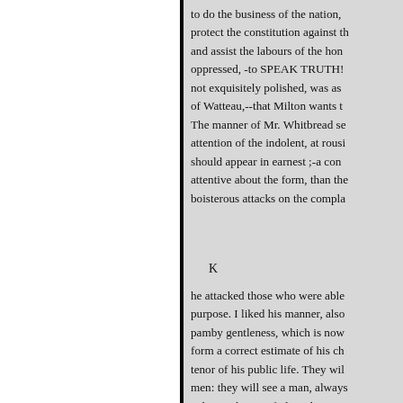to do the business of the nation, protect the constitution against th and assist the labours of the hon oppressed, -to SPEAK TRUTH! not exquisitely polished, was as of Watteau,--that Milton wants t The manner of Mr. Whitbread se attention of the indolent, at rousi should appear in earnest ;-a con attentive about the form, than th boisterous attacks on the compla
K
he attacked those who were able purpose. I liked his manner, also pamby gentleness, which is now form a correct estimate of his ch tenor of his public life. They wil men: they will see a man, always paltry ambition of place, but on tyranny of high power ; they wi